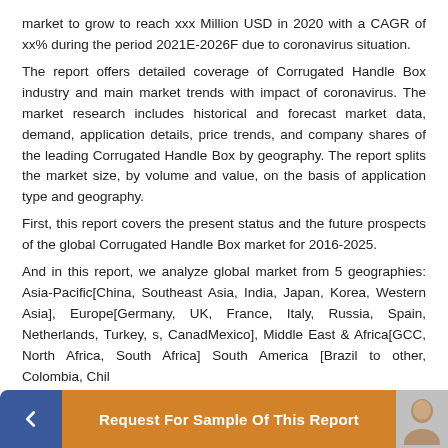market to grow to reach xxx Million USD in 2020 with a CAGR of xx% during the period 2021E-2026F due to coronavirus situation.
The report offers detailed coverage of Corrugated Handle Box industry and main market trends with impact of coronavirus. The market research includes historical and forecast market data, demand, application details, price trends, and company shares of the leading Corrugated Handle Box by geography. The report splits the market size, by volume and value, on the basis of application type and geography.
First, this report covers the present status and the future prospects of the global Corrugated Handle Box market for 2016-2025.
And in this report, we analyze global market from 5 geographies: Asia-Pacific[China, Southeast Asia, India, Japan, Korea, Western Asia], Europe[Germany, UK, France, Italy, Russia, Spain, Netherlands, Turkey, ...s, Canada, Mexico], Middle East & Africa[GCC, North Africa, South Africa], South America [...]
[Figure (other): Bottom banner with back button (blue), Request For Sample Of This Report button (orange), and avatar image on the right.]